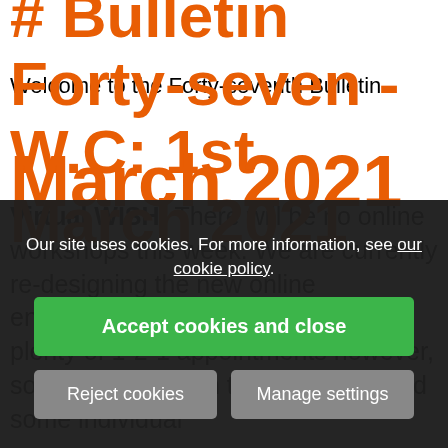# Bulletin Forty-seven - W.C: 1st March 2021
Welcome to the Forty-seventh Bulletin.
Virtual WISH: There will be no online workshops this week. We are currently re-designing the new online engagement plan. We are still doing plenty of 1-2-1 appointments however, so please do get in touch if you would some individual support.
For those of you that have not been with us from the beginning, here are some basic preparation activities that you might have missed out on. Over the next
Our site uses cookies. For more information, see our cookie policy.
Accept cookies and close
Reject cookies
Manage settings